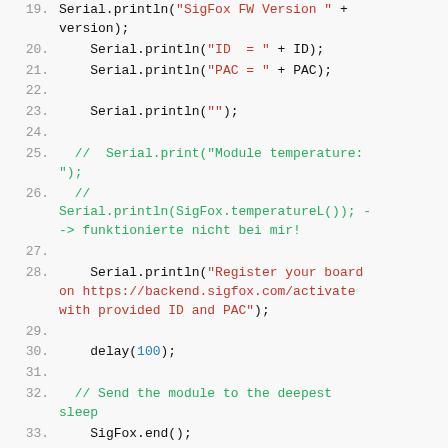[Figure (screenshot): Source code listing lines 19-37 showing Arduino/SigFox code with syntax highlighting. Line numbers in gray, strings in red, comments in green, keywords in bold black, numbers in blue.]